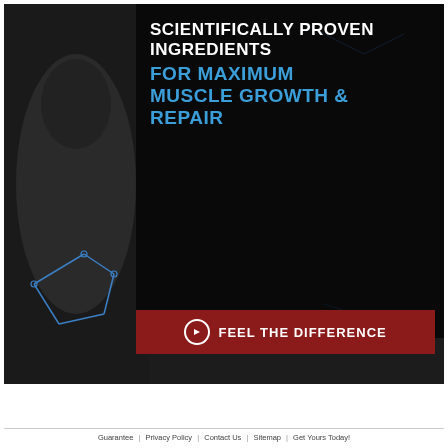[Figure (illustration): Dark background banner image showing a muscular person from behind with chemical/molecular diagrams overlaid in blue. A dark semi-transparent overlay on the right side contains large text: 'SCIENTIFICALLY PROVEN INGREDIENTS FOR MAXIMUM MUSCLE GROWTH & REPAIR' with a red call-to-action button 'FEEL THE DIFFERENCE'.]
Guarantee | Privacy Policy | Contact Us | Sitemap | Get Yours Today!